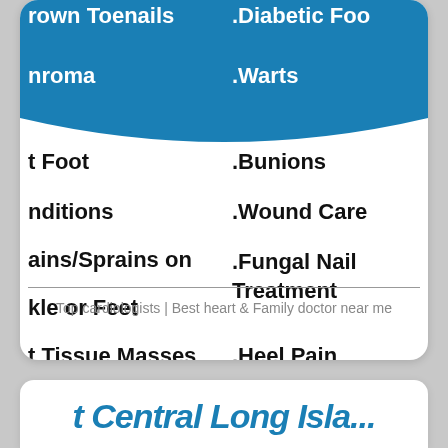rown Toenails
nroma
.Diabetic Foo
.Warts
t Foot
nditions
.Bunions
.Wound Care
ains/Sprains on
kle or Feet
.Fungal Nail Treatment
t Tissue Masses
.Heel Pain
agical Repair of
mmer Toes
.Ganglion Cy
Top cardiologists | Best heart & Family doctor near me
[Figure (other): Partial text of Central Long Island or similar medical provider name in blue italic bold font]